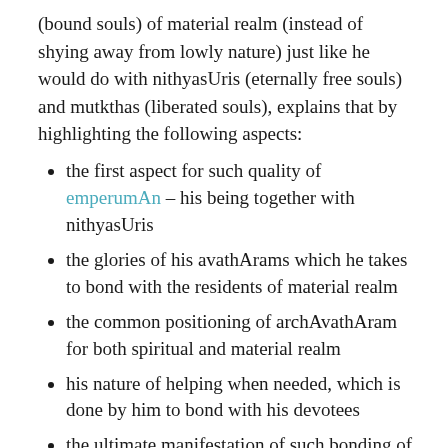(bound souls) of material realm (instead of shying away from lowly nature) just like he would do with nithyasUris (eternally free souls) and mutkthas (liberated souls), explains that by highlighting the following aspects:
the first aspect for such quality of emperumAn – his being together with nithyasUris
the glories of his avathArams which he takes to bond with the residents of material realm
the common positioning of archAvathAram for both spiritual and material realm
his nature of helping when needed, which is done by him to bond with his devotees
the ultimate manifestation of such bonding of emperumAn with AzhwAr himself
such bonding being casually done with